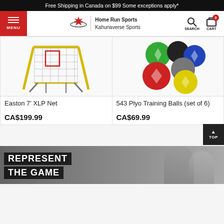Free Shipping in Canada on $99 Some exceptions apply*
[Figure (screenshot): Navigation bar with hamburger menu (red), Home Run Sports / Kahunaverse Sports logo, search icon, and cart icon with badge showing 0]
[Figure (photo): Easton 7' XLP Net - a baseball/softball practice net with yellow poles and gray netting, with a red square target on the net]
Easton 7' XLP Net
CA$199.99
[Figure (photo): 543 Plyo Training Balls (set of 6) - colorful training balls in green, red, black, blue, gray, and yellow with diamond logos]
543 Plyo Training Balls (set of 6)
CA$69.99
[Figure (photo): Bottom promotional banner showing two people (male and female) with text 'REPRESENT THE GAME']